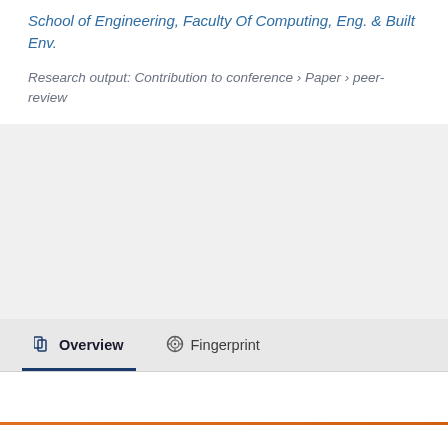School of Engineering, Faculty Of Computing, Eng. & Built Env.
Research output: Contribution to conference › Paper › peer-review
Overview   Fingerprint
We use cookies to analyse and improve our service. Cookie Policy